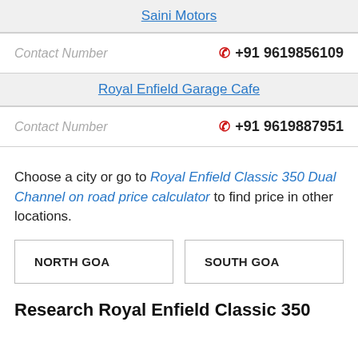Saini Motors
Contact Number  +91 9619856109
Royal Enfield Garage Cafe
Contact Number  +91 9619887951
Choose a city or go to Royal Enfield Classic 350 Dual Channel on road price calculator to find price in other locations.
NORTH GOA
SOUTH GOA
Research Royal Enfield Classic 350